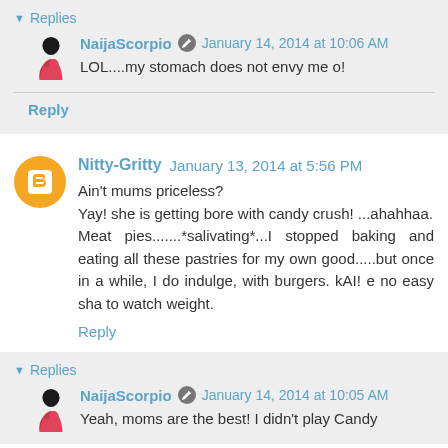Replies
NaijaScorpio  January 14, 2014 at 10:06 AM
LOL....my stomach does not envy me o!
Reply
Nitty-Gritty  January 13, 2014 at 5:56 PM
Ain't mums priceless?
Yay! she is getting bore with candy crush! ...ahahhaa.
Meat pies.......*salivating*...I stopped baking and eating all these pastries for my own good.....but once in a while, I do indulge, with burgers. kAI! e no easy sha to watch weight.
Reply
Replies
NaijaScorpio  January 14, 2014 at 10:05 AM
Yeah, moms are the best! I didn't play Candy